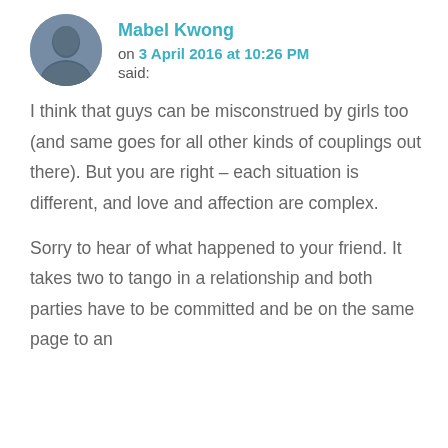Mabel Kwong
on 3 April 2016 at 10:26 PM
said:
I think that guys can be misconstrued by girls too (and same goes for all other kinds of couplings out there). But you are right – each situation is different, and love and affection are complex.
Sorry to hear of what happened to your friend. It takes two to tango in a relationship and both parties have to be committed and be on the same page to an